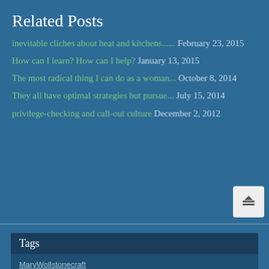Related Posts
inevitable cliches about heat and kitchens...... February 23, 2015
How can I learn? How can I help? January 13, 2015
The most radical thing I can do as a woman... October 8, 2014
They all have optimal strategies but pursue... July 15, 2014
privilege-checking and call-out culture December 2, 2012
Tags
MaryWollstonecraft
AVindicationoftheRightsofWoman
AVindicationoftheRightsofMary
RobertaWedge
blogs